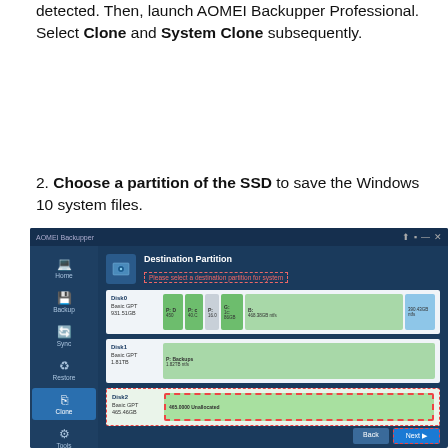1. Connect SSD to your computer and make sure it can be detected. Then, launch AOMEI Backupper Professional. Select Clone and System Clone subsequently.
2. Choose a partition of the SSD to save the Windows 10 system files.
[Figure (screenshot): AOMEI Backupper Professional application screenshot showing the System Clone destination partition selection screen. The left sidebar shows navigation items: Home, Backup, Sync, Restore, Clone (active/highlighted), Tools. The main area shows 'Destination Partition' heading with a dashed red warning box saying 'Please select a destination partition for system'. Three disk entries are shown: Disk0 (Basic GPT, 931.51GB) with multiple partitions; Disk1 (Basic GPT, 1.81TB) with P: Backups 1.82TB NTFS partition; Disk2 (Basic GPT, 465.46GB) with 465.0000 Unallocated partition selected with dashed red border. Bottom right has Back and Next buttons with the Next button highlighted in a dashed red border.]